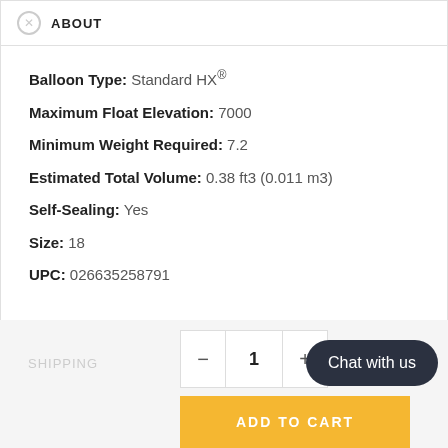ABOUT
Balloon Type: Standard HX®
Maximum Float Elevation: 7000
Minimum Weight Required: 7.2
Estimated Total Volume: 0.38 ft3 (0.011 m3)
Self-Sealing: Yes
Size: 18
UPC: 026635258791
REVIEWS
SHIPPING
- 1 +
ADD TO CART
Chat with us